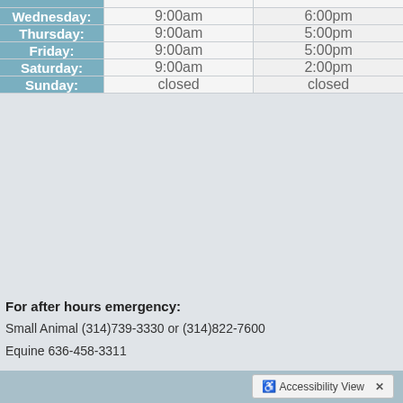| Day | Open | Close |
| --- | --- | --- |
| Wednesday: | 9:00am | 6:00pm |
| Thursday: | 9:00am | 5:00pm |
| Friday: | 9:00am | 5:00pm |
| Saturday: | 9:00am | 2:00pm |
| Sunday: | closed | closed |
For after hours emergency:
Small Animal (314)739-3330 or (314)822-7600
Equine 636-458-3311